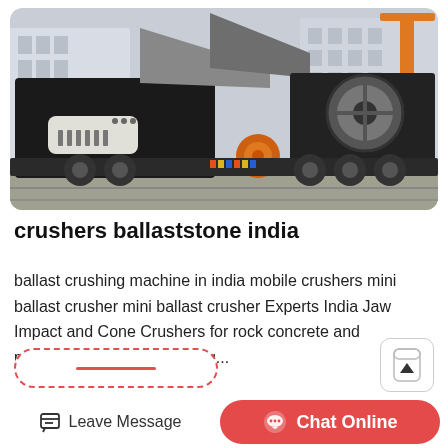[Figure (photo): A large mobile crushing machine (jaw/impact crusher) mounted on a flatbed trailer, parked in an industrial or construction area with buildings in the background. The machine is predominantly black and grey.]
crushers ballaststone india
ballast crushing machine in india mobile crushers mini ballast crusher mini ballast crusher Experts India Jaw Impact and Cone Crushers for rock concrete and previously used for recycling...